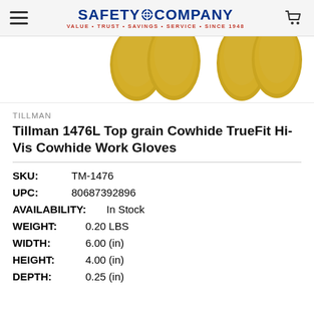SafetyCompany — VALUE • TRUST • SAVINGS • SERVICE • SINCE 1948
[Figure (photo): Partial view of yellow/gold cowhide work gloves, showing the finger/knuckle area against a white background]
TILLMAN
Tillman 1476L Top grain Cowhide TrueFit Hi-Vis Cowhide Work Gloves
SKU: TM-1476
UPC: 80687392896
AVAILABILITY: In Stock
WEIGHT: 0.20 LBS
WIDTH: 6.00 (in)
HEIGHT: 4.00 (in)
DEPTH: 0.25 (in)